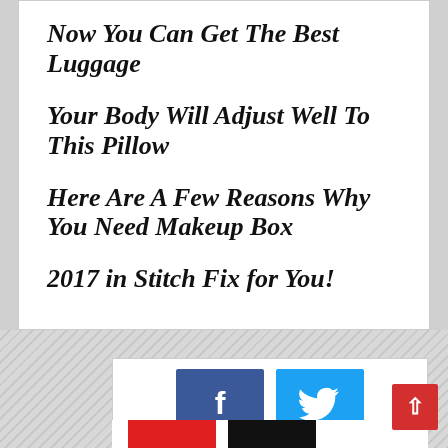Now You Can Get The Best Luggage
Your Body Will Adjust Well To This Pillow
Here Are A Few Reasons Why You Need Makeup Box
2017 in Stitch Fix for You!
[Figure (other): Social sharing buttons: Facebook (blue), Twitter (light blue), red button, black button, and a red back-to-top arrow button]